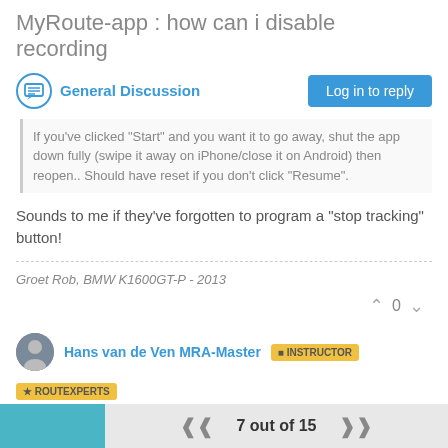MyRoute-app : how can i disable recording
General Discussion
If you've clicked "Start" and you want it to go away, shut the app down fully (swipe it away on iPhone/close it on Android) then reopen.. Should have reset if you don't click "Resume".
Sounds to me if they've forgotten to program a "stop tracking" button!
Groet Rob, BMW K1600GT-P - 2013
Hans van de Ven MRA-Master
May 30, 2022, 4:06 AM
@anthony-black-0
7 out of 15